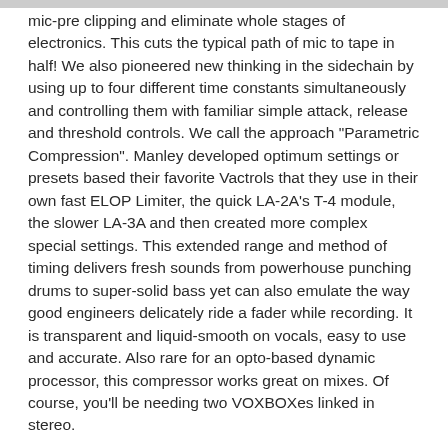mic-pre clipping and eliminate whole stages of electronics. This cuts the typical path of mic to tape in half! We also pioneered new thinking in the sidechain by using up to four different time constants simultaneously and controlling them with familiar simple attack, release and threshold controls. We call the approach "Parametric Compression". Manley developed optimum settings or presets based their favorite Vactrols that they use in their own fast ELOP Limiter, the quick LA-2A's T-4 module, the slower LA-3A and then created more complex special settings. This extended range and method of timing delivers fresh sounds from powerhouse punching drums to super-solid bass yet can also emulate the way good engineers delicately ride a fader while recording. It is transparent and liquid-smooth on vocals, easy to use and accurate. Also rare for an opto-based dynamic processor, this compressor works great on mixes. Of course, you'll be needing two VOXBOXes linked in stereo.
EQ Section
Lots of folks requested that Manley include the Pultec Mid Frequency Equalizer in the VOXBOX, but they wanted MORE.... Now Manley have extended it to 33 frequencies in 3 bands with 6 new frequencies from 20 Hz to 150 Hz, and 6